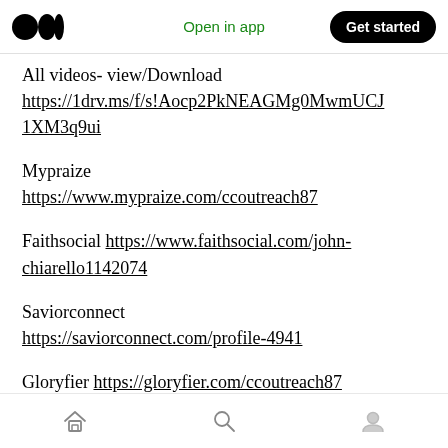Open in app | Get started
All videos- view/Download https://1drv.ms/f/s!Aocp2PkNEAGMg0MwmUCJ1XM3q9ui
Mypraize https://www.mypraize.com/ccoutreach87
Faithsocial https://www.faithsocial.com/john-chiarello1142074
Saviorconnect https://saviorconnect.com/profile-4941
Gloryfier https://gloryfier.com/ccoutreach87
Home | Search | Profile